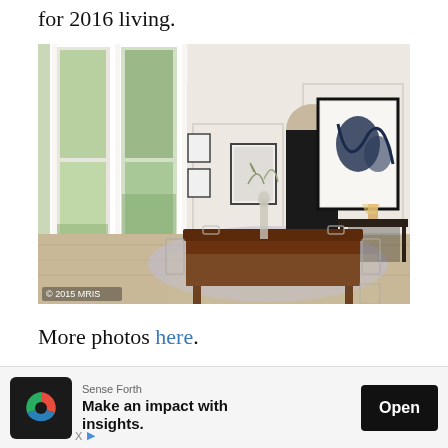for 2016 living.
[Figure (photo): Interior dining room photo showing a white wainscoted room with large windows on the left, a dark wooden dining table with acrylic/ghost chairs, a floral centerpiece, hardwood floors, an area rug, and modern abstract artwork on the right wall. Watermark reads '© 2015 MRIS' in the bottom-left corner.]
More photos here.
6. 1155 23rd St., NW, Pres. Penthouse 2, 20037
[Figure (other): Advertisement banner for 'Sense Forth' with tagline 'Make an impact with insights.' and an Open button. Includes app icon and X/play controls at bottom left.]